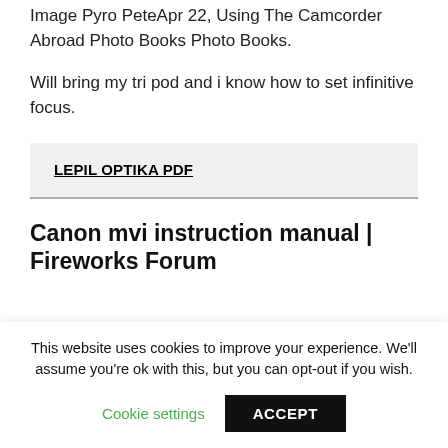Image Pyro PeteApr 22, Using The Camcorder Abroad Photo Books Photo Books.
Will bring my tri pod and i know how to set infinitive focus.
LEPIL OPTIKA PDF
Canon mvi instruction manual | Fireworks Forum
This website uses cookies to improve your experience. We'll assume you're ok with this, but you can opt-out if you wish.
Cookie settings
ACCEPT